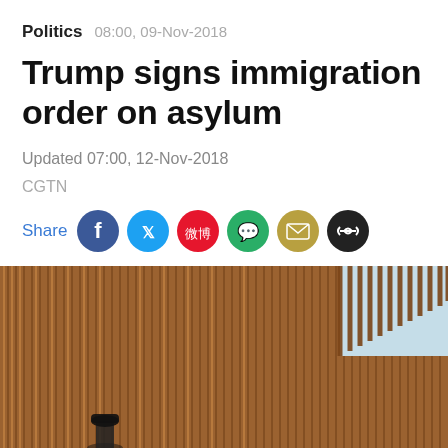Politics  08:00, 09-Nov-2018
Trump signs immigration order on asylum
Updated 07:00, 12-Nov-2018
CGTN
Share
[Figure (photo): A large metal border fence/wall with vertical rust-brown steel slats photographed from below against a light blue sky. A person wearing a dark cap is visible near the base of the fence.]